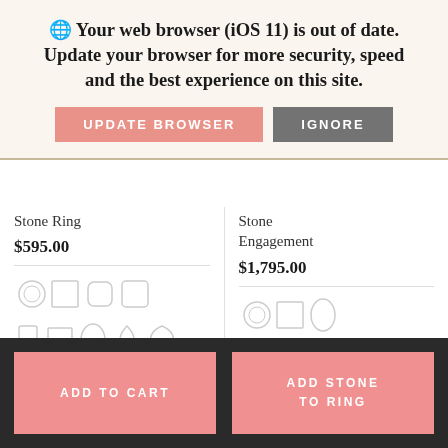🌐 Your web browser (iOS 11) is out of date. Update your browser for more security, speed and the best experience on this site.
UPDATE BROWSER | IGNORE
Stone Ring
$595.00
Stone Engagement
$1,795.00
ADD TO CART
ADD STONE TO RING